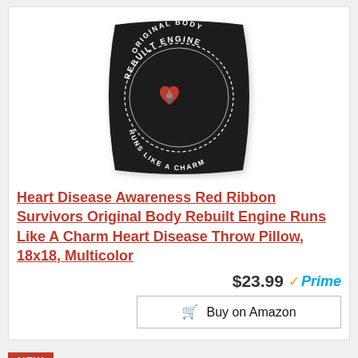[Figure (photo): Black throw pillow with circular design reading 'Original Body Rebuilt Engine Runs Like A Charm' with a red heart illustration in the center]
Heart Disease Awareness Red Ribbon Survivors Original Body Rebuilt Engine Runs Like A Charm Heart Disease Throw Pillow, 18x18, Multicolor
$23.99 Prime
Buy on Amazon
NEW